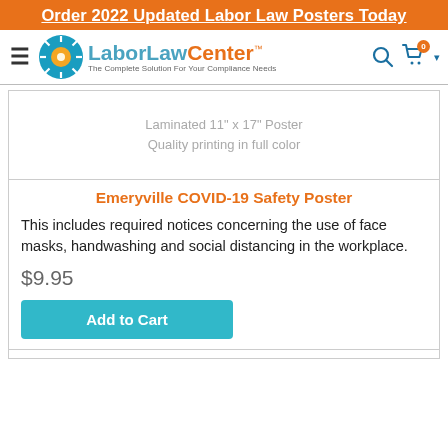Order 2022 Updated Labor Law Posters Today
[Figure (logo): LaborLawCenter logo with sun/rays icon and tagline 'The Complete Solution For Your Compliance Needs']
[Figure (illustration): Product image placeholder showing text: Laminated 11" x 17" Poster / Quality printing in full color]
Emeryville COVID-19 Safety Poster
This includes required notices concerning the use of face masks, handwashing and social distancing in the workplace.
$9.95
Add to Cart